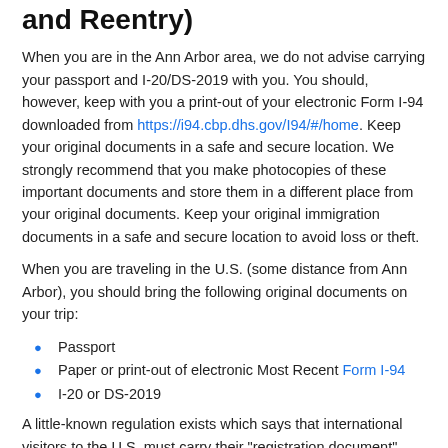and Reentry)
When you are in the Ann Arbor area, we do not advise carrying your passport and I-20/DS-2019 with you. You should, however, keep with you a print-out of your electronic Form I-94 downloaded from https://i94.cbp.dhs.gov/I94/#/home. Keep your original documents in a safe and secure location. We strongly recommend that you make photocopies of these important documents and store them in a different place from your original documents. Keep your original immigration documents in a safe and secure location to avoid loss or theft.
When you are traveling in the U.S. (some distance from Ann Arbor), you should bring the following original documents on your trip:
Passport
Paper or print-out of electronic Most Recent Form I-94
I-20 or DS-2019
A little-known regulation exists which says that international visitors to the U.S. must carry their "registration document" with them. The "registration document" for F-1 students and J-1 students and scholars is the Form I-94. You should always carry a printout of your electronic Form I-94 downloaded from https://i94.cbp.dhs.gov/I94/#/home